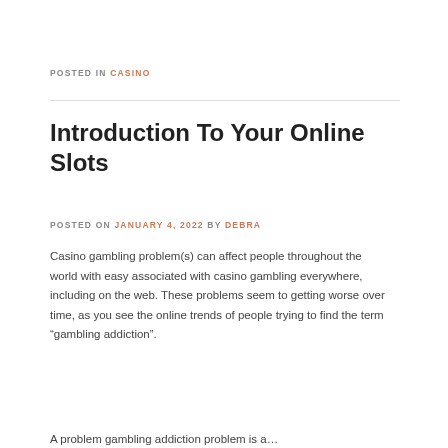POSTED IN CASINO
Introduction To Your Online Slots
POSTED ON JANUARY 4, 2022 BY DEBRA
Casino gambling problem(s) can affect people throughout the world with easy associated with casino gambling everywhere, including on the web. These problems seem to getting worse over time, as you see the online trends of people trying to find the term “gambling addiction”.